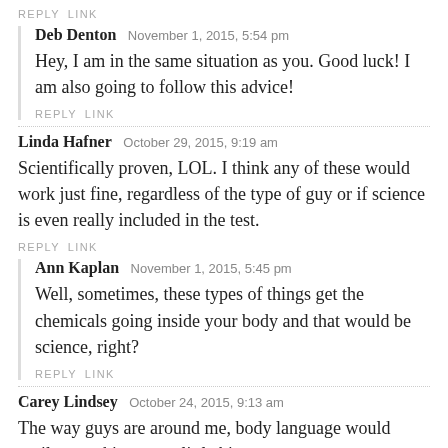REPLY   LINK
Deb Denton  November 1, 2015, 5:54 pm
Hey, I am in the same situation as you. Good luck! I am also going to follow this advice!
REPLY   LINK
Linda Hafner  October 29, 2015, 9:19 am
Scientifically proven, LOL. I think any of these would work just fine, regardless of the type of guy or if science is even really included in the test.
REPLY   LINK
Ann Kaplan  November 1, 2015, 5:45 pm
Well, sometimes, these types of things get the chemicals going inside your body and that would be science, right?
REPLY   LINK
Carey Lindsey  October 24, 2015, 9:13 am
The way guys are around me, body language would easily turn things up a little bit.